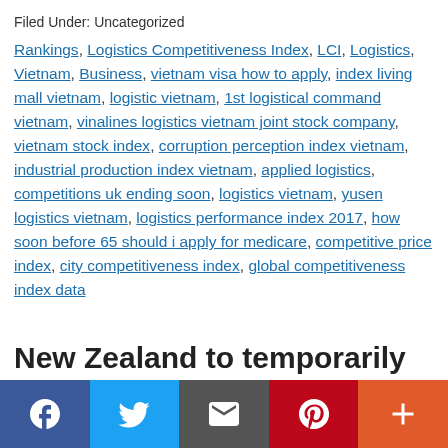Filed Under: Uncategorized
Rankings, Logistics Competitiveness Index, LCI, Logistics, Vietnam, Business, vietnam visa how to apply, index living mall vietnam, logistic vietnam, 1st logistical command vietnam, vinalines logistics vietnam joint stock company, vietnam stock index, corruption perception index vietnam, industrial production index vietnam, applied logistics, competitions uk ending soon, logistics vietnam, yusen logistics vietnam, logistics performance index 2017, how soon before 65 should i apply for medicare, competitive price index, city competitiveness index, global competitiveness index data
New Zealand to temporarily
f  Twitter  Email  p  +